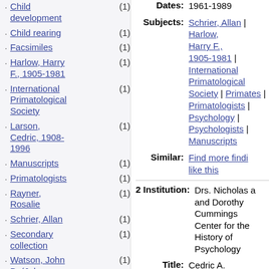Child development (1)
Child rearing (1)
Facsimiles (1)
Harlow, Harry F., 1905-1981 (1)
International Primatological Society (1)
Larson, Cedric, 1908-1996 (1)
Manuscripts (1)
Primatologists (1)
Rayner, Rosalie (1)
Schrier, Allan (1)
Secondary collection (1)
Watson, John B. (John Broadus), 1878-1958 (1)
Dates: 1961-1989
Subjects: Schrier, Allan | Harlow, Harry F., 1905-1981 | International Primatological Society | Primates | Primatologists | Psychology | Psychologists | Manuscripts
Similar: Find more finding aids like this
2 Institution: Drs. Nicholas and Dorothy Cummings Center for the History of Psychology
Title: Cedric A.